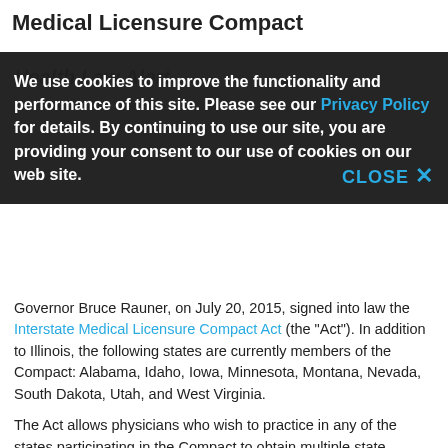Medical Licensure Compact
We use cookies to improve the functionality and performance of this site. Please see our Privacy Policy for details. By continuing to use our site, you are providing your consent to our use of cookies on our web site.
Health Law Alert
Governor Bruce Rauner, on July 20, 2015, signed into law the Interstate Medical Licensure Compact Act (the "Act"). In addition to Illinois, the following states are currently members of the Compact: Alabama, Idaho, Iowa, Minnesota, Montana, Nevada, South Dakota, Utah, and West Virginia.
The Act allows physicians who wish to practice in any of the states participating in the Compact to obtain multiple state licenses without going through the process of submitting a formal application or providing the same materials to each participating state medical board. The driving force behind the Act is the increasing use of